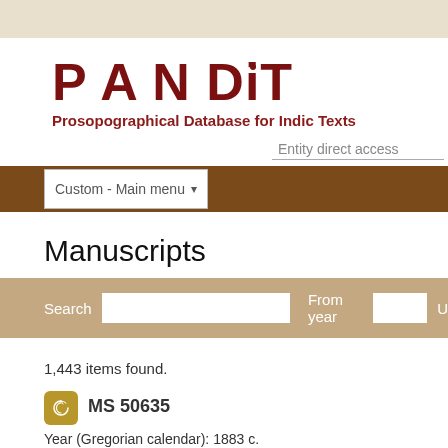PANDiT
Prosopographical Database for Indic Texts
Entity direct access
Custom - Main menu
Manuscripts
Search   From year   U
1,443 items found.
MS 50635
Year (Gregorian calendar): 1883 c.